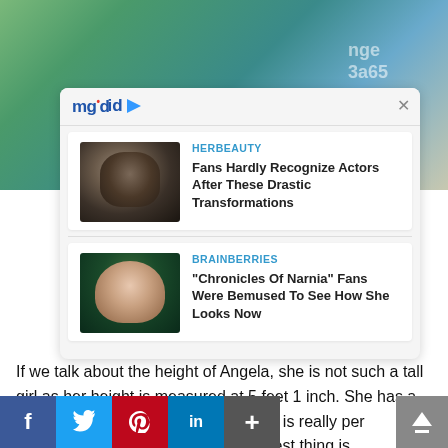[Figure (photo): Top portion of a web page showing a photo of a person outdoors with plants/nature background, partially obscured]
[Figure (screenshot): MGID sponsored content widget with two article cards. Card 1: HERBEAUTY - 'Fans Hardly Recognize Actors After These Drastic Transformations' with a dark stone-like face image. Card 2: BRAINBERRIES - '"Chronicles Of Narnia" Fans Were Bemused To See How She Looks Now' with a photo of a young girl with a tiara. Widget has close X button and mgid logo with play button.]
If we talk about the height of Angela, she is not such a tall girl as her height is measured at 5 feet 1 inch. She has a bodyweight of 54 kg or 120 lbs which is really per a body characteristics. The best thing is
[Figure (screenshot): Social media sharing bar at bottom with Facebook, Twitter, Pinterest, LinkedIn, and More (+) buttons, plus a scroll-to-top button on the right]